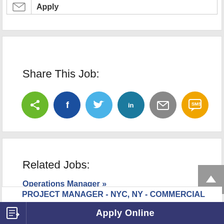Share This Job:
[Figure (other): Social share buttons: share (green), Facebook (blue), Twitter (light blue), LinkedIn (teal), Email (grey), SMS (yellow/orange)]
Related Jobs:
Operations Manager »
Greater Houston, TX
US
PROJECT MANAGER - NYC, NY - COMMERCIAL
Apply Online